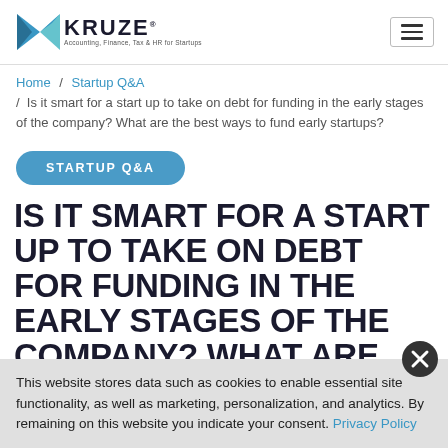Kruze — Accounting, Finance, Tax & HR for Startups
Home / Startup Q&A / Is it smart for a start up to take on debt for funding in the early stages of the company? What are the best ways to fund early startups?
STARTUP Q&A
IS IT SMART FOR A START UP TO TAKE ON DEBT FOR FUNDING IN THE EARLY STAGES OF THE COMPANY? WHAT ARE THE BEST WAYS TO…
This website stores data such as cookies to enable essential site functionality, as well as marketing, personalization, and analytics. By remaining on this website you indicate your consent. Privacy Policy